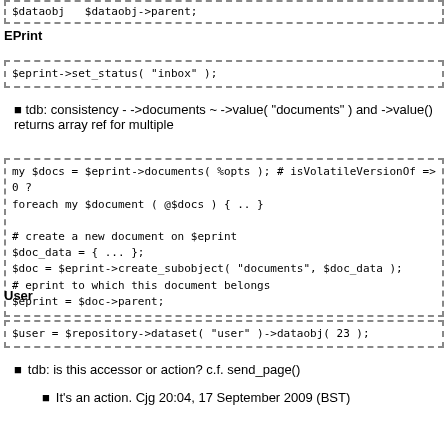$dataobj   $dataobj->parent;
$eprint->set_status( "inbox" );
EPrint
$eprint->set_status( "inbox" );
tdb: consistency - ->documents ~ ->value( "documents" ) and ->value() returns array ref for multiple
my $docs = $eprint->documents( %opts ); # isVolatileVersionOf => 0 ?
foreach my $document ( @$docs ) { .. }

# create a new document on $eprint
$doc_data = { ... };
$doc = $eprint->create_subobject( "documents", $doc_data );
# eprint to which this document belongs
$eprint = $doc->parent;
User
$user = $repository->dataset( "user" )->dataobj( 23 );
tdb: is this accessor or action? c.f. send_page()
It's an action. Cjg 20:04, 17 September 2009 (BST)